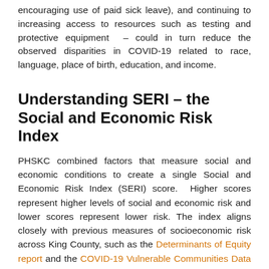encouraging use of paid sick leave), and continuing to increasing access to resources such as testing and protective equipment – could in turn reduce the observed disparities in COVID-19 related to race, language, place of birth, education, and income.
Understanding SERI – the Social and Economic Risk Index
PHSKC combined factors that measure social and economic conditions to create a single Social and Economic Risk Index (SERI) score. Higher scores represent higher levels of social and economic risk and lower scores represent lower risk. The index aligns closely with previous measures of socioeconomic risk across King County, such as the Determinants of Equity report and the COVID-19 Vulnerable Communities Data Tool.